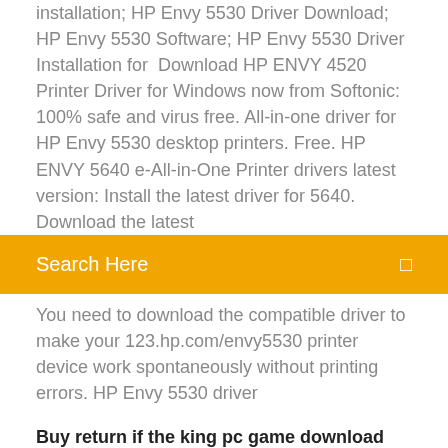installation; HP Envy 5530 Driver Download; HP Envy 5530 Software; HP Envy 5530 Driver Installation for Download HP ENVY 4520 Printer Driver for Windows now from Softonic: 100% safe and virus free. All-in-one driver for HP Envy 5530 desktop printers. Free. HP ENVY 5640 e-All-in-One Printer drivers latest version: Install the latest driver for 5640. Download the latest
[Figure (screenshot): Orange search bar with text 'Search Here' and a search icon on the right]
You need to download the compatible driver to make your 123.hp.com/envy5530 printer device work spontaneously without printing errors. HP Envy 5530 driver
Buy return if the king pc game download
Hp laserjet 500 m570dn driver download
Download driver for mac
Rooster teeth app stuck on download videos
Can i download torrents on x box one
Management ricky griffin 11th edition pdf download
Hello nabior for free download apk